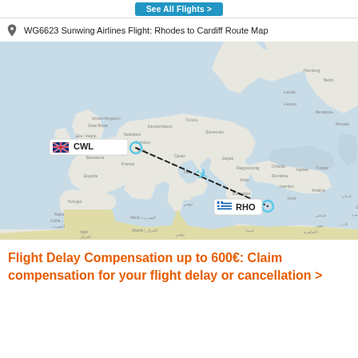See All Flights >
WG6623 Sunwing Airlines Flight: Rhodes to Cardiff Route Map
[Figure (map): Route map showing flight path from RHO (Rhodes, Greece) to CWL (Cardiff, Wales, UK) over Europe with a dashed line and airplane icon mid-route. Airport markers CWL (UK flag) and RHO (Greek flag) labeled on map.]
Flight Delay Compensation up to 600€: Claim compensation for your flight delay or cancellation >